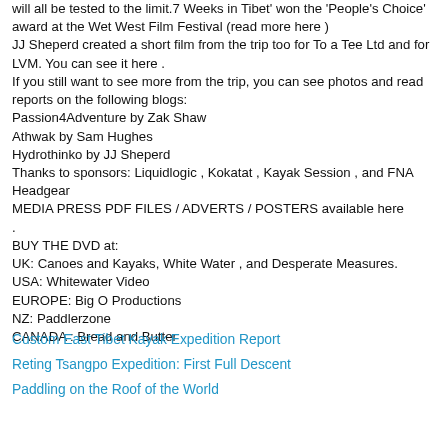will all be tested to the limit.7 Weeks in Tibet' won the 'People's Choice' award at the Wet West Film Festival (read more here ) JJ Sheperd created a short film from the trip too for To a Tee Ltd and for LVM. You can see it here . If you still want to see more from the trip, you can see photos and read reports on the following blogs: Passion4Adventure by Zak Shaw Athwak by Sam Hughes Hydrothinko by JJ Sheperd Thanks to sponsors: Liquidlogic , Kokatat , Kayak Session , and FNA Headgear MEDIA PRESS PDF FILES / ADVERTS / POSTERS available here . BUY THE DVD at: UK: Canoes and Kayaks, White Water , and Desperate Measures. USA: Whitewater Video EUROPE: Big O Productions NZ: Paddlerzone CANADA : Bread and Butter
Custom East Tibet Kayak Expedition Report
Reting Tsangpo Expedition: First Full Descent
Paddling on the Roof of the World